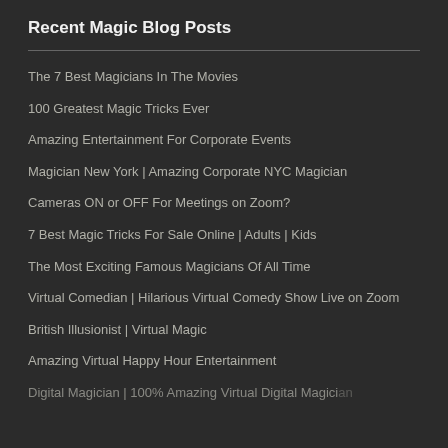Recent Magic Blog Posts
The 7 Best Magicians In The Movies
100 Greatest Magic Tricks Ever
Amazing Entertainment For Corporate Events
Magician New York | Amazing Corporate NYC Magician
Cameras ON or OFF For Meetings on Zoom?
7 Best Magic Tricks For Sale Online | Adults | Kids
The Most Exciting Famous Magicians Of All Time
Virtual Comedian | Hilarious Virtual Comedy Show Live on Zoom
British Illusionist | Virtual Magic
Amazing Virtual Happy Hour Entertainment
Digital Magician | 100% Amazing Virtual Digital Magician